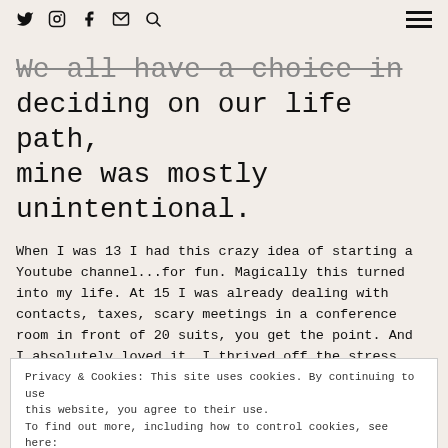Social media icons: Twitter, Instagram, Facebook, Email, Search — hamburger menu
We all have a choice in deciding on our life path, mine was mostly unintentional.
When I was 13 I had this crazy idea of starting a Youtube channel...for fun. Magically this turned into my life. At 15 I was already dealing with contacts, taxes, scary meetings in a conference room in front of 20 suits, you get the point. And I absolutely loved it. I thrived off the stress
Privacy & Cookies: This site uses cookies. By continuing to use this website, you agree to their use.
To find out more, including how to control cookies, see here:
Cookie Policy
[Close and accept]
when that will stop being enough I'm scared to